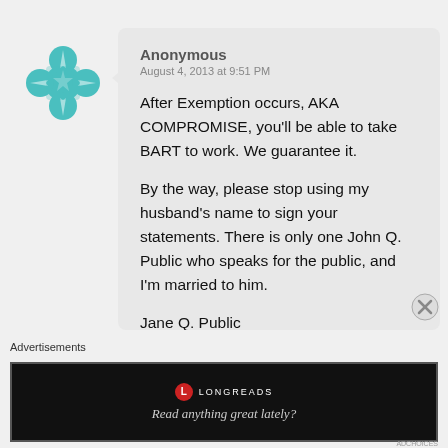[Figure (illustration): Teal/green decorative avatar icon with a cross/flower symmetrical pattern]
Anonymous
August 4, 2013 at 9:51 PM

After Exemption occurs, AKA COMPROMISE, you'll be able to take BART to work. We guarantee it.

By the way, please stop using my husband's name to sign your statements. There is only one John Q. Public who speaks for the public, and I'm married to him.

Jane Q. Public
Advertisements
[Figure (logo): Longreads ad banner — black background with red circle L logo, LONGREADS text, and italic text 'Read anything great lately?']